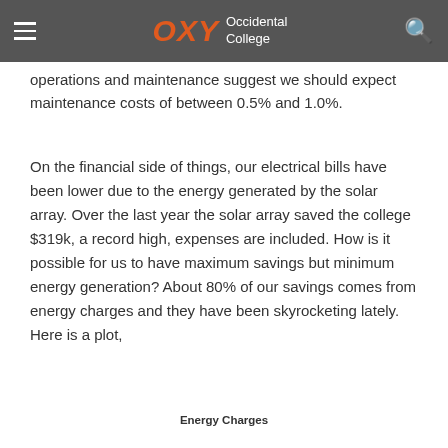OXY Occidental College
operations and maintenance suggest we should expect maintenance costs of between 0.5% and 1.0%.
On the financial side of things, our electrical bills have been lower due to the energy generated by the solar array. Over the last year the solar array saved the college $319k, a record high, expenses are included. How is it possible for us to have maximum savings but minimum energy generation? About 80% of our savings comes from energy charges and they have been skyrocketing lately. Here is a plot,
Energy Charges